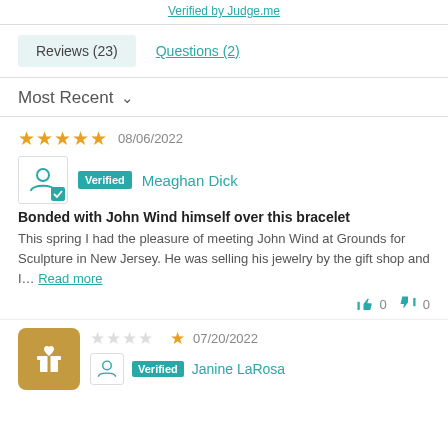Verified by Judge.me
Reviews (23)  Questions (2)
Most Recent ∨
★★★★★  08/06/2022
Verified  Meaghan Dick
Bonded with John Wind himself over this bracelet
This spring I had the pleasure of meeting John Wind at Grounds for Sculpture in New Jersey. He was selling his jewelry by the gift shop and I... Read more
👍 0  👎 0
★  07/20/2022
Verified  Janine LaRosa